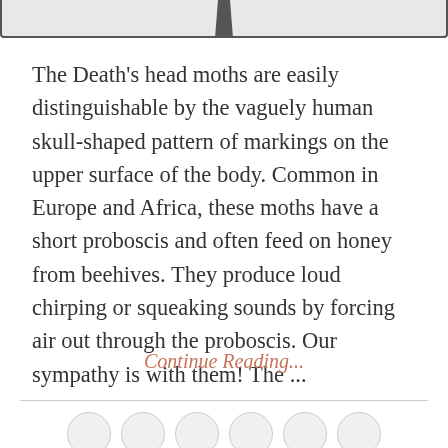[Figure (photo): Partial top of a photo visible at the top of the page, showing a dark silhouetted shape at the bottom of the image frame]
The Death's head moths are easily distinguishable by the vaguely human skull-shaped pattern of markings on the upper surface of the body. Common in Europe and Africa, these moths have a short proboscis and often feed on honey from beehives. They produce loud chirping or squeaking sounds by forcing air out through the proboscis. Our sympathy is with them! The ...
Continue Reading...
[Figure (other): A row of circular avatar placeholders at the bottom of the page]